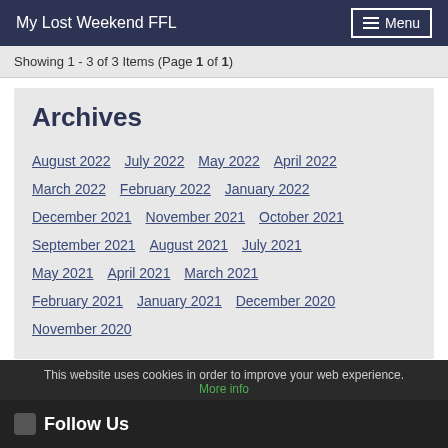My Lost Weekend FFL  Menu
Showing 1 - 3 of 3 Items (Page 1 of 1)
Archives
August 2022
July 2022
May 2022
April 2022
March 2022
February 2022
January 2022
December 2021
November 2021
October 2021
September 2021
August 2021
July 2021
May 2021
April 2021
March 2021
February 2021
January 2021
December 2020
November 2020
◀ Previous Page   Next Page ▶
This website uses cookies in order to improve your web experience. More info
Follow Us